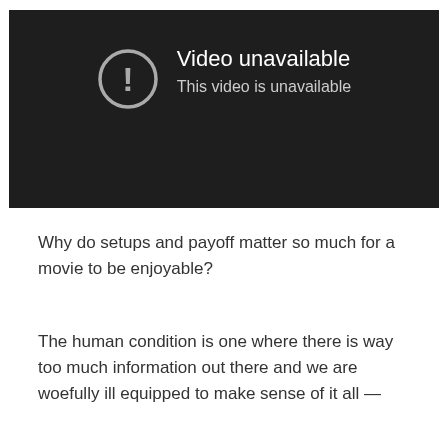[Figure (screenshot): A dark video player showing 'Video unavailable' error with an exclamation mark in a circle icon, and subtitle text 'This video is unavailable'.]
Why do setups and payoff matter so much for a movie to be enjoyable?
The human condition is one where there is way too much information out there and we are woefully ill equipped to make sense of it all —